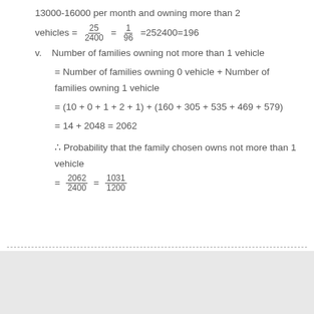13000-16000 per month and owning more than 2 vehicles = 25/2400 = 1/96 =252400=196
v. Number of families owning not more than 1 vehicle
= Number of families owning 0 vehicle + Number of families owning 1 vehicle
= (10 + 0 + 1 + 2 + 1) + (160 + 305 + 535 + 469 + 579)
= 14 + 2048 = 2062
∴ Probability that the family chosen owns not more than 1 vehicle